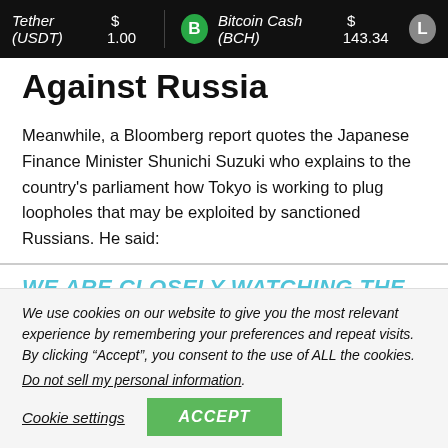Tether (USDT) $1.00 | Bitcoin Cash (BCH) $143.34
Against Russia
Meanwhile, a Bloomberg report quotes the Japanese Finance Minister Shunichi Suzuki who explains to the country's parliament how Tokyo is working to plug loopholes that may be exploited by sanctioned Russians. He said:
WE ARE CLOSELY WATCHING THE
We use cookies on our website to give you the most relevant experience by remembering your preferences and repeat visits. By clicking “Accept”, you consent to the use of ALL the cookies.
Do not sell my personal information.
Cookie settings | ACCEPT